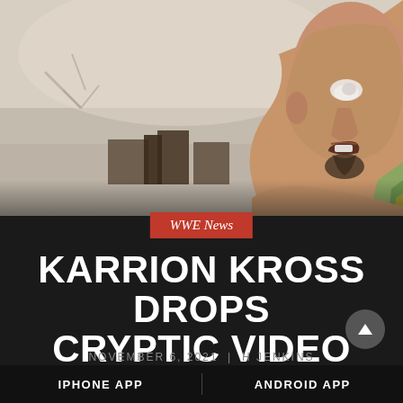[Figure (photo): Close-up photo of a man (Karrion Kross) with a bald head and goatee, looking sideways, with a misty outdoor background showing bare trees and dark structures. He appears to be wearing a colorful top.]
WWE News
KARRION KROSS DROPS CRYPTIC VIDEO AFTER WWE RELEASE
NOVEMBER 6, 2021 | H JENKINS
IPHONE APP
ANDROID APP